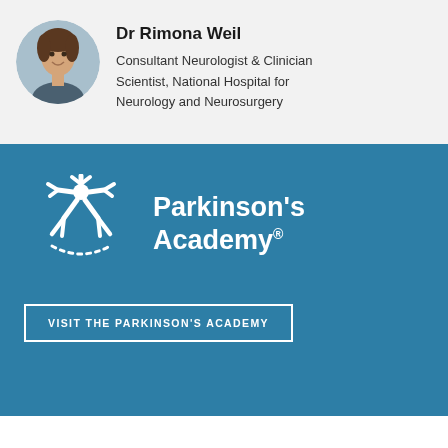[Figure (photo): Circular profile photo of Dr Rimona Weil, a woman smiling, wearing professional attire]
Dr Rimona Weil
Consultant Neurologist & Clinician Scientist, National Hospital for Neurology and Neurosurgery
[Figure (logo): Parkinson's Academy logo — white neuron/figure icon on blue background with text 'Parkinson's Academy®']
VISIT THE PARKINSON'S ACADEMY